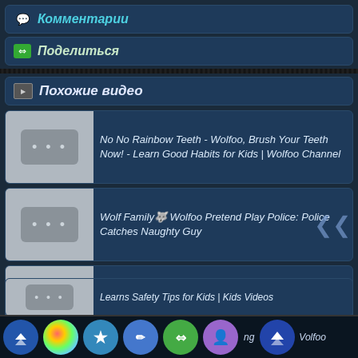Комментарии
Поделиться
Похожие видео
No No Rainbow Teeth - Wolfoo, Brush Your Teeth Now! - Learn Good Habits for Kids | Wolfoo Channel
Wolf Family🐺 Wolfoo Pretend Play Police: Police Catches Naughty Guy
[30 Min Compilation] Wolfoo Became Kid Superhero - Stories for Kids | Wolfoo Family Kids Cartoon
Wolfoo Learns Safety Tips for Kids | Kids Videos